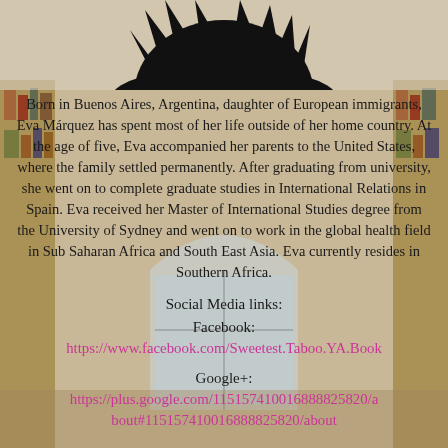[Figure (illustration): Black and white silhouette illustration of a person with wild hair against a light background, cropped at top of page]
Born in Buenos Aires, Argentina, daughter of European immigrants, Eva Márquez has spent most of her life outside of her home country. At the age of five, Eva accompanied her parents to the United States, where the family settled permanently. After graduating from university, she went on to complete graduate studies in International Relations in Spain. Eva received her Master of International Studies degree from the University of Sydney and went on to work in the global health field in Sub Saharan Africa and South East Asia. Eva currently resides in Southern Africa.
Social Media links:
Facebook:
https://www.facebook.com/Sweetest.Taboo.YA.Book
Google+:
https://plus.google.com/115157410016888825820/about#115157410016888825820/about